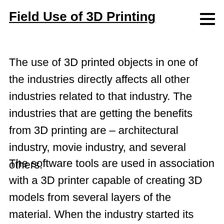Field Use of 3D Printing
The use of 3D printed objects in one of the industries directly affects all other industries related to that industry. The industries that are getting the benefits from 3D printing are – architectural industry, movie industry, and several others.
The software tools are used in association with a 3D printer capable of creating 3D models from several layers of the material. When the industry started its journey, at that